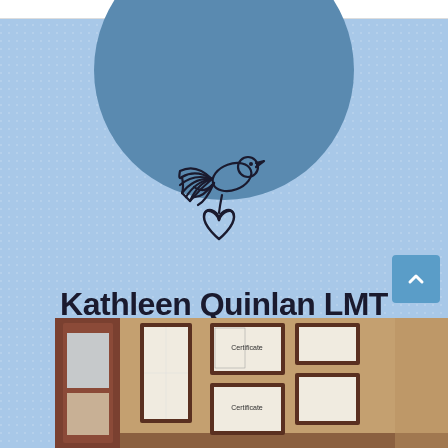[Figure (logo): Line art logo of a dove carrying a heart, outlined in black on light blue background]
Kathleen Quinlan LMT offers a calming office space for her valued patients
[Figure (photo): Interior photo of an office waiting room with framed certificates and artwork on beige walls]